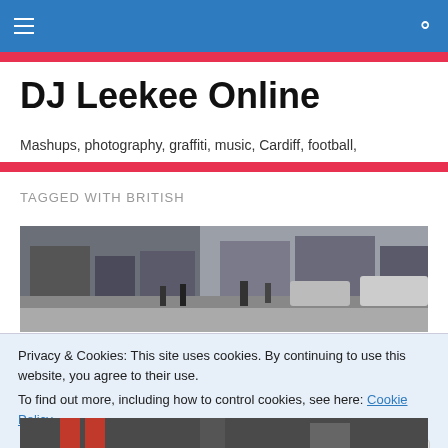DJ Leekee Online — navigation bar with menu and search icons
DJ Leekee Online
Mashups, photography, graffiti, music, Cardiff, football,
TAGGED WITH BRITISH
[Figure (photo): Street scene photograph showing pedestrians, a parked car, and storefronts on a city street.]
Privacy & Cookies: This site uses cookies. By continuing to use this website, you agree to their use.
To find out more, including how to control cookies, see here: Cookie Policy
Close and accept
[Figure (photo): Partial bottom strip of another street/event photograph.]